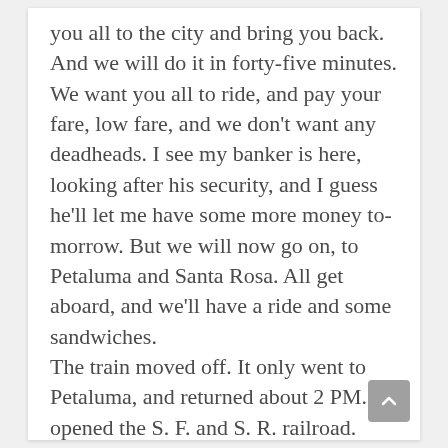you all to the city and bring you back. And we will do it in forty-five minutes. We want you all to ride, and pay your fare, low fare, and we don't want any deadheads. I see my banker is here, looking after his security, and I guess he'll let me have some more money to-morrow. But we will now go on, to Petaluma and Santa Rosa. All get aboard, and we'll have a ride and some sandwiches.
The train moved off. It only went to Petaluma, and returned about 2 PM. So opened the S. F. and S. R. railroad.